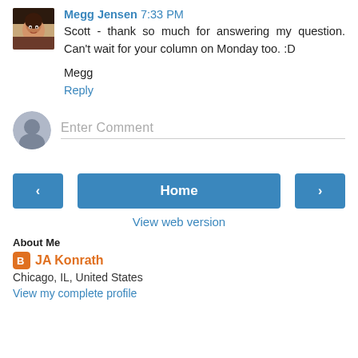Megg Jensen 7:33 PM
Scott - thank so much for answering my question. Can't wait for your column on Monday too. :D

Megg
Reply
Enter Comment
Home
View web version
About Me
JA Konrath
Chicago, IL, United States
View my complete profile